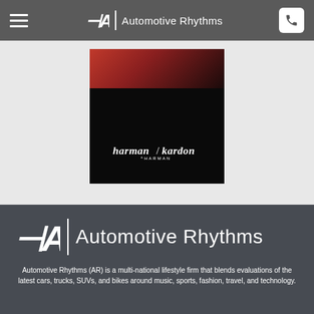≡ ⊣AR | Automotive Rhythms 📞
[Figure (logo): Harman Kardon logo on dark background with red car element at top]
[Figure (logo): Automotive Rhythms logo — stylized AR monogram with vertical divider and text]
Automotive Rhythms (AR) is a multi-national lifestyle firm that blends evaluations of the latest cars, trucks, SUVs, and bikes around music, sports, fashion, travel, and technology.